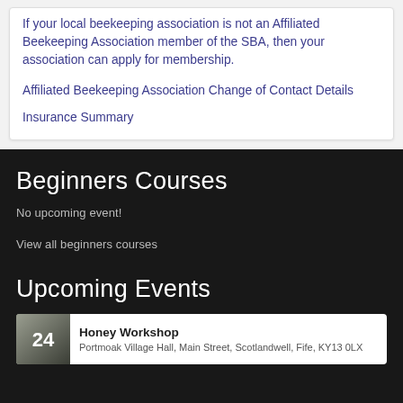If your local beekeeping association is not an Affiliated Beekeeping Association member of the SBA, then your association can apply for membership.
Affiliated Beekeeping Association Change of Contact Details
Insurance Summary
Beginners Courses
No upcoming event!
View all beginners courses
Upcoming Events
Honey Workshop
Portmoak Village Hall, Main Street, Scotlandwell, Fife, KY13 0LX